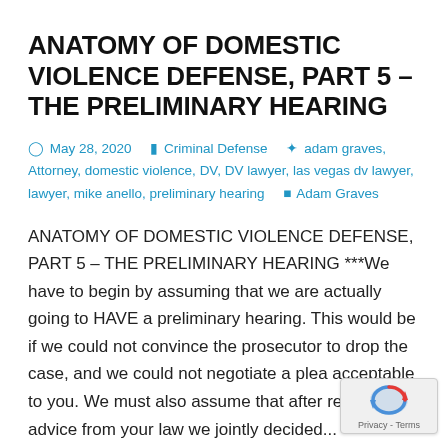ANATOMY OF DOMESTIC VIOLENCE DEFENSE, PART 5 – THE PRELIMINARY HEARING
May 28, 2020   Criminal Defense   adam graves, Attorney, domestic violence, DV, DV lawyer, las vegas dv lawyer, lawyer, mike anello, preliminary hearing   Adam Graves
ANATOMY OF DOMESTIC VIOLENCE DEFENSE, PART 5 – THE PRELIMINARY HEARING ***We have to begin by assuming that we are actually going to HAVE a preliminary hearing. This would be if we could not convince the prosecutor to drop the case, and we could not negotiate a plea acceptable to you. We must also assume that after receiving advice from your law we jointly decided...